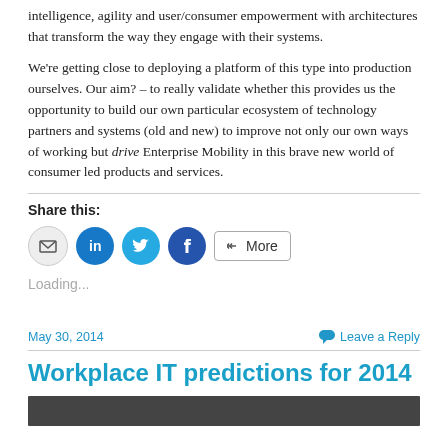intelligence, agility and user/consumer empowerment with architectures that transform the way they engage with their systems.
We’re getting close to deploying a platform of this type into production ourselves. Our aim? – to really validate whether this provides us the opportunity to build our own particular ecosystem of technology partners and systems (old and new) to improve not only our own ways of working but drive Enterprise Mobility in this brave new world of consumer led products and services.
Share this:
Loading...
May 30, 2014
Leave a Reply
Workplace IT predictions for 2014
[Figure (photo): A dark-toned image at the bottom of the page, partially visible.]